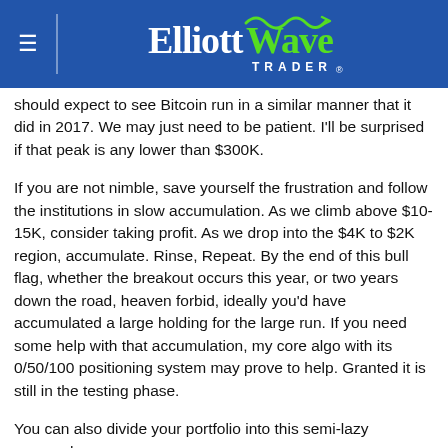Elliott Wave Trader
should expect to see Bitcoin run in a similar manner that it did in 2017. We may just need to be patient. I'll be surprised if that peak is any lower than $300K.
If you are not nimble, save yourself the frustration and follow the institutions in slow accumulation. As we climb above $10-15K, consider taking profit. As we drop into the $4K to $2K region, accumulate. Rinse, Repeat. By the end of this bull flag, whether the breakout occurs this year, or two years down the road, heaven forbid, ideally you'd have accumulated a large holding for the large run. If you need some help with that accumulation, my core algo with its 0/50/100 positioning system may prove to help. Granted it is still in the testing phase.
You can also divide your portfolio into this semi-lazy approach